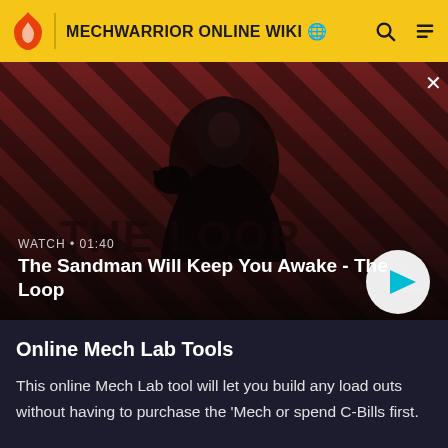MECHWARRIOR ONLINE WIKI
[Figure (screenshot): Video thumbnail showing a dark-cloaked figure with a raven on shoulder against a red diagonal striped background. Text overlay: WATCH • 01:40. Video title: The Sandman Will Keep You Awake - The Loop. Play button visible bottom right.]
Online Mech Lab Tools
This online Mech Lab tool will let you build any load outs without having to purchase the 'Mech or spend C-Bills first.